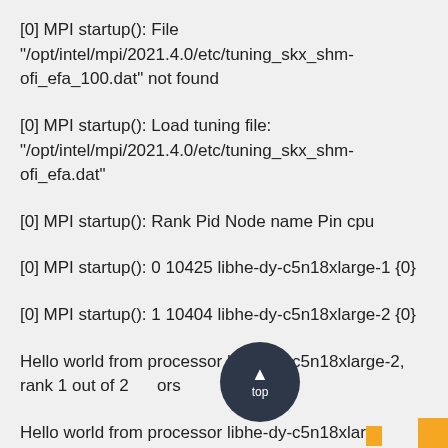[0] MPI startup(): File "/opt/intel/mpi/2021.4.0/etc/tuning_skx_shm-ofi_efa_100.dat" not found
[0] MPI startup(): Load tuning file: "/opt/intel/mpi/2021.4.0/etc/tuning_skx_shm-ofi_efa.dat"
[0] MPI startup(): Rank Pid Node name Pin cpu
[0] MPI startup(): 0 10425 libhe-dy-c5n18xlarge-1 {0}
[0] MPI startup(): 1 10404 libhe-dy-c5n18xlarge-2 {0}
Hello world from processor libhe-dy-c5n18xlarge-2, rank 1 out of 2 processors
Hello world from processor libhe-dy-c5n18xlarg